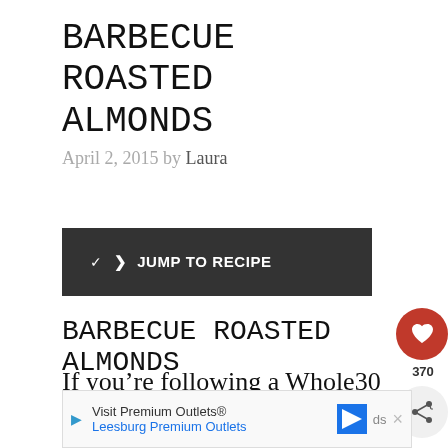BARBECUE ROASTED ALMONDS
April 2, 2015 by Laura
JUMP TO RECIPE
BARBECUE ROASTED ALMONDS
If you’re following a Whole30 die plan or you’re Paleo or you just
Visit Premium Outlets® Leesburg Premium Outlets